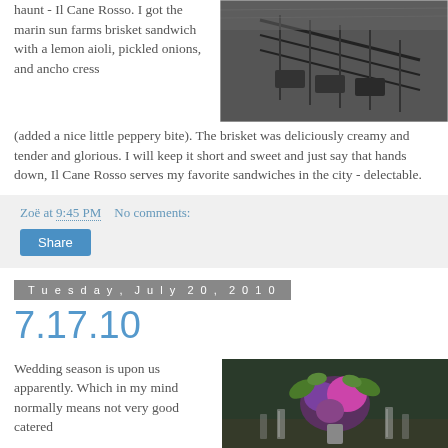haunt - Il Cane Rosso. I got the marin sun farms brisket sandwich with a lemon aioli, pickled onions, and ancho cress (added a nice little peppery bite). The brisket was deliciously creamy and tender and glorious. I will keep it short and sweet and just say that hands down, Il Cane Rosso serves my favorite sandwiches in the city - delectable.
[Figure (photo): Black and white photo of outdoor restaurant/bar area with railings and seating]
Zoë at 9:45 PM    No comments:
Share
Tuesday, July 20, 2010
7.17.10
Wedding season is upon us apparently. Which in my mind normally means not very good catered
[Figure (photo): Color photo of wedding table setting with purple/pink floral arrangement and glassware]